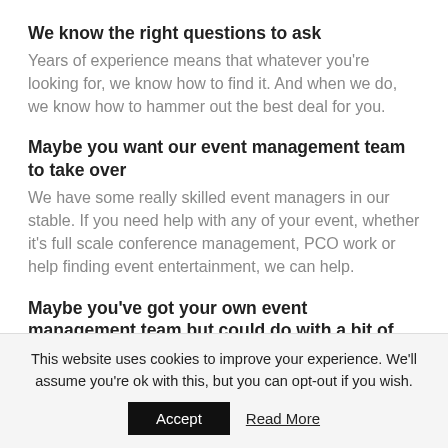We know the right questions to ask
Years of experience means that whatever you're looking for, we know how to find it. And when we do, we know how to hammer out the best deal for you.
Maybe you want our event management team to take over
We have some really skilled event managers in our stable. If you need help with any of your event, whether it's full scale conference management, PCO work or help finding event entertainment, we can help.
Maybe you've got your own event management team but could do with a bit of support
We know that tough cutbacks or quality control means that event planning is often done in house. But it's time
This website uses cookies to improve your experience. We'll assume you're ok with this, but you can opt-out if you wish.
Accept    Read More